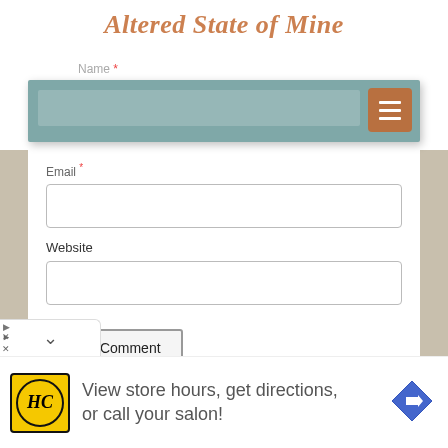Altered State of Mine
Name *
[Figure (screenshot): Navigation bar with teal/muted green background and a hamburger menu button (three horizontal lines) on the right side in brown/copper color]
Email *
Website
Post Comment
[Figure (other): Collapse chevron button at bottom of form panel]
[Figure (other): Advertisement banner: HC logo in yellow circle with black border, text 'View store hours, get directions, or call your salon!', blue diamond navigation icon on right]